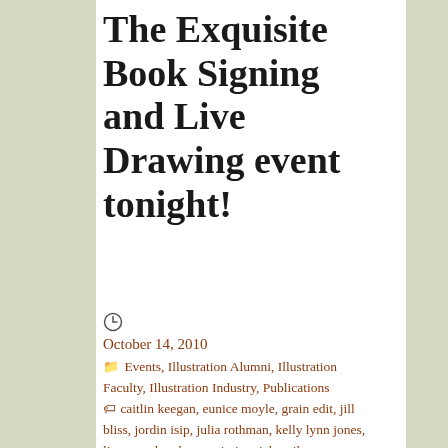The Exquisite Book Signing and Live Drawing event tonight!
October 14, 2010
Events, Illustration Alumni, Illustration Faculty, Illustration Industry, Publications
caitlin keegan, eunice moyle, grain edit, jill bliss, jordin isip, julia rothman, kelly lynn jones, lisa congdon, lorena siminovich, mike perry, rare device, susie ghahremani, the exquisite